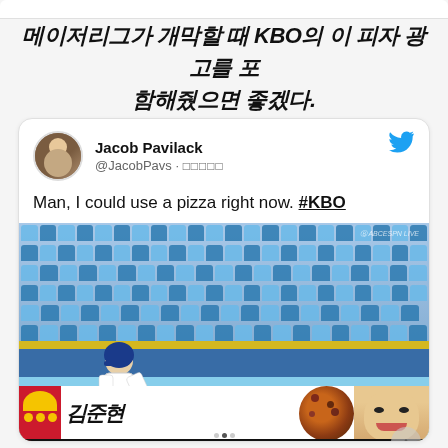메이저리그가 개막할 때 KBO의 이 피자 광고를 포함해줬으면 좋겠다.
[Figure (screenshot): Screenshot of a tweet by Jacob Pavilack (@JacobPavs) saying 'Man, I could use a pizza right now. #KBO' with an attached photo of a KBO baseball game showing a player near the outfield wall with a pizza advertisement banner visible. ESPN news ticker visible at the bottom.]